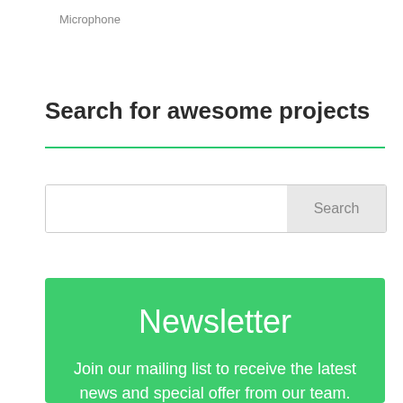Microphone
Search for awesome projects
[Figure (other): Teal horizontal divider line]
Search
Newsletter
Join our mailing list to receive the latest news and special offer from our team.